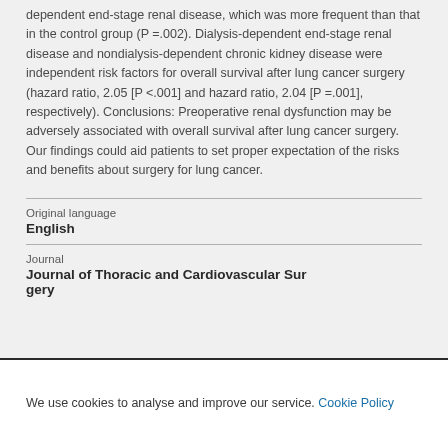dependent end-stage renal disease, which was more frequent than that in the control group (P =.002). Dialysis-dependent end-stage renal disease and nondialysis-dependent chronic kidney disease were independent risk factors for overall survival after lung cancer surgery (hazard ratio, 2.05 [P <.001] and hazard ratio, 2.04 [P =.001], respectively). Conclusions: Preoperative renal dysfunction may be adversely associated with overall survival after lung cancer surgery. Our findings could aid patients to set proper expectation of the risks and benefits about surgery for lung cancer.
Original language
English
Journal
Journal of Thoracic and Cardiovascular Surgery
We use cookies to analyse and improve our service. Cookie Policy